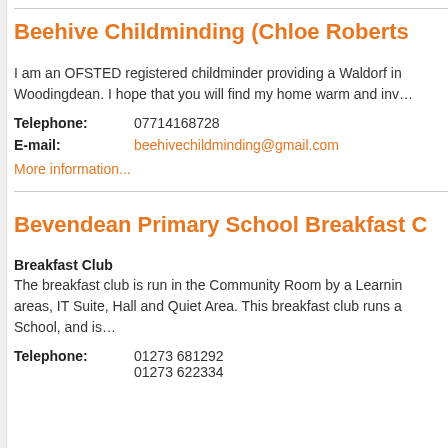Beehive Childminding (Chloe Roberts
I am an OFSTED registered childminder providing a Waldorf inspired service in Woodingdean. I hope that you will find my home warm and inv…
Telephone: 07714168728
E-mail: beehivechildminding@gmail.com
More information...
Bevendean Primary School Breakfast C
Breakfast Club
The breakfast club is run in the Community Room by a Learning areas, IT Suite, Hall and Quiet Area. This breakfast club runs at School, and is…
Telephone: 01273 681292
01273 622334